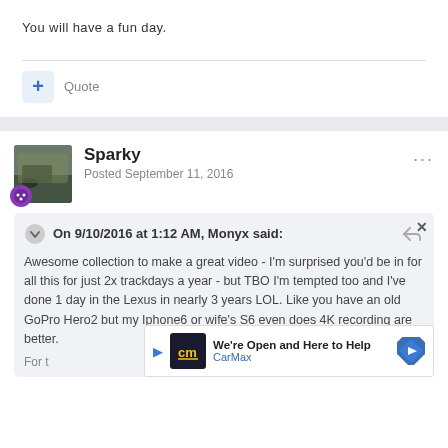You will have a fun day.
Quote
Sparky
Posted September 11, 2016
On 9/10/2016 at 1:12 AM, Monyx said:
Awesome collection to make a great video - I'm surprised you'd be in for all this for just 2x trackdays a year - but TBO I'm tempted too and I've done 1 day in the Lexus in nearly 3 years LOL. Like you have an old GoPro Hero2 but my Iphone6 or wife's S6 even does 4K recording are better.
For t
[Figure (screenshot): CarMax advertisement banner with play button, CM logo, 'We're Open and Here to Help' text, CarMax brand name, and blue diamond arrow icon]